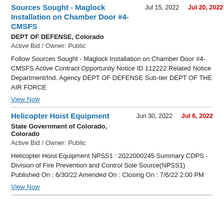Sources Sought - Maglock Installation on Chamber Door #4- CMSFS
Jul 15, 2022    Jul 20, 2022
DEPT OF DEFENSE, Colorado
Active Bid / Owner: Public
Follow Sources Sought - Maglock Installation on Chamber Door #4-CMSFS Active Contract Opportunity Notice ID 112222 Related Notice Department/Ind. Agency DEPT OF DEFENSE Sub-tier DEPT OF THE AIR FORCE
View Now
Helicopter Hoist Equipment
Jun 30, 2022    Jul 6, 2022
State Government of Colorado, Colorado
Active Bid / Owner: Public
Helicopter Hoist Equipment NPSS1 : 2022000245 Summary CDPS - Division of Fire Prevention and Control Sole Source(NPSS1) Published On : 6/30/22 Amended On : Closing On : 7/6/22 2:00 PM
View Now